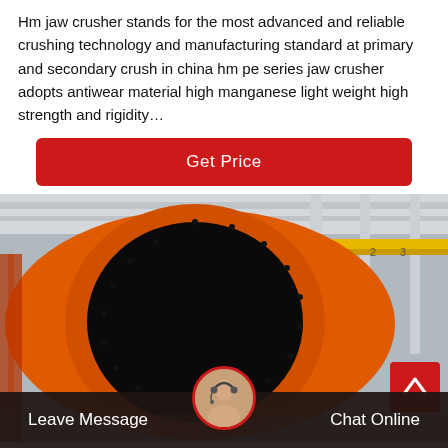Hm jaw crusher stands for the most advanced and reliable crushing technology and manufacturing standard at primary and secondary crush in china hm pe series jaw crusher adopts antiwear material high manganese light weight high strength and rigidity…
[Figure (other): Red 'Get Price' button bar]
[Figure (photo): Industrial photo of a large orange ball mill or rotary drum with a black circular opening, inside a factory with steel structures and a yellow overhead crane]
Leave Message
Chat Online